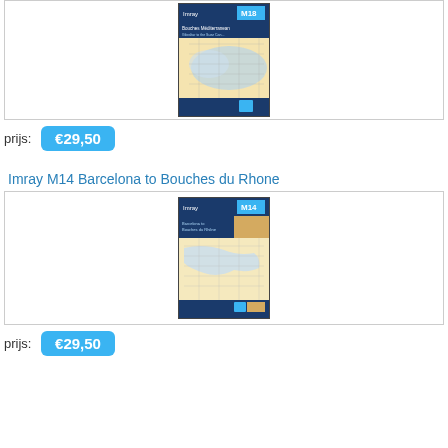[Figure (illustration): Imray M18 nautical chart cover showing Mediterranean sea map with blue and beige colors, labeled M18 in top right corner]
prijs:  €29,50
Imray M14 Barcelona to Bouches du Rhone
[Figure (illustration): Imray M14 nautical chart cover showing Barcelona to Bouches du Rhone map, blue and beige colors, labeled M14 in top right corner]
prijs:  €29,50